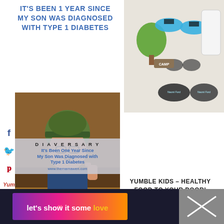IT'S BEEN 1 YEAR SINCE MY SON WAS DIAGNOSED WITH TYPE 1 DIABETES
[Figure (photo): Photo of camp items including flip flops, sunglasses, shoes, and a white case with name labels 'Naomi Ford', arranged on a white wooden surface with a green tree cutout]
[Figure (photo): Photo of a smiling teenage boy wearing glasses and a hat, giving a thumbs up, sitting at a restaurant table with a plate of food including chicken and zucchini]
[Figure (infographic): Diaversary overlay text on boy image: 'DIAVERSARY – It's Been One Year Since My Son Was Diagnosed with Type 1 Diabetes – www.themamawen.com']
0
SHARES
YUMBLE KIDS – HEALTHY FOOD TO YOUR DOOR!
Healthy Kids Meals | No Cooking Required
[Figure (infographic): Dark footer banner with purple-to-pink-to-orange gradient containing text 'let's show it some love' with a heart icon, and a grey X/close area on the right]